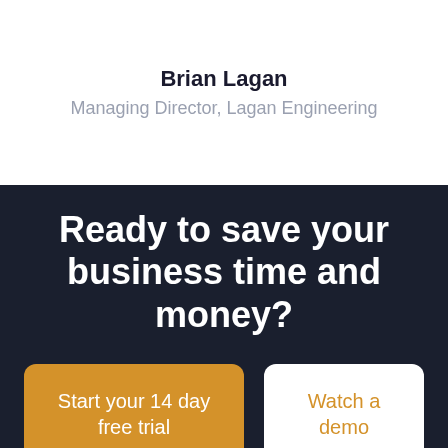Brian Lagan
Managing Director, Lagan Engineering
Ready to save your business time and money?
Start your 14 day free trial
Watch a demo